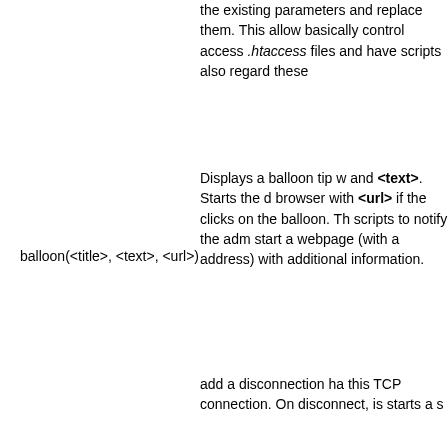the existing parameters and replace them. This allows basically control access .htaccess files and have scripts also regard these
balloon(<title>, <text>, <url>)
Displays a balloon tip with and <text>. Starts the d browser with <url> if the clicks on the balloon. Th scripts to notify the adm start a webpage (with a address) with additional information.
add a disconnection ha this TCP connection. On disconnect, is starts a s